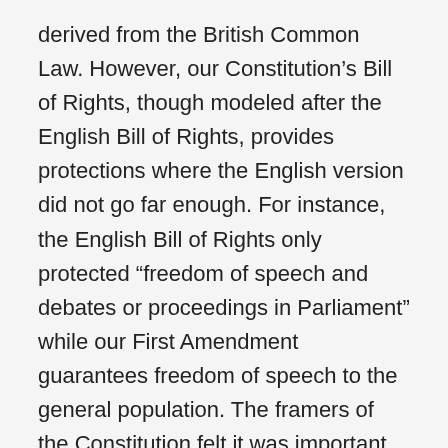derived from the British Common Law. However, our Constitution’s Bill of Rights, though modeled after the English Bill of Rights, provides protections where the English version did not go far enough. For instance, the English Bill of Rights only protected “freedom of speech and debates or proceedings in Parliament” while our First Amendment guarantees freedom of speech to the general population. The framers of the Constitution felt it was important to codify in the First Amendment protections of not only free speech, but also of the press, religion, and assembly to safeguard against encroachment by the government on the rights of the public.
Some may argue that First Amendment protections stop at our borders and that one cannot invoke our Constitution in cases simply because they were decided in a foreign jurisdiction, but that is not necessarily so. The doctrine of comity does not bar asserting free speech